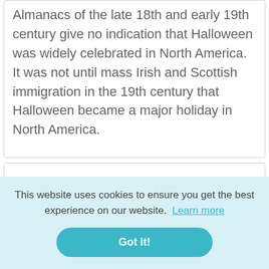Almanacs of the late 18th and early 19th century give no indication that Halloween was widely celebrated in North America. It was not until mass Irish and Scottish immigration in the 19th century that Halloween became a major holiday in North America.
This website uses cookies to ensure you get the best experience on our website. Learn more
Got it!